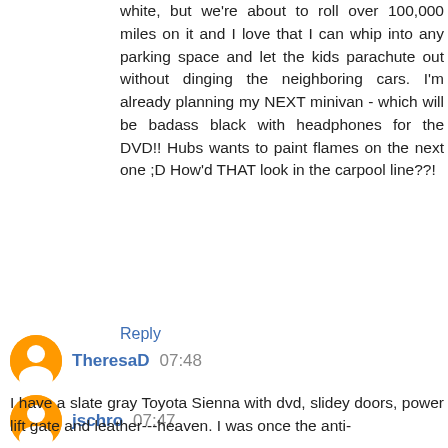white, but we're about to roll over 100,000 miles on it and I love that I can whip into any parking space and let the kids parachute out without dinging the neighboring cars. I'm already planning my NEXT minivan - which will be badass black with headphones for the DVD!! Hubs wants to paint flames on the next one ;D How'd THAT look in the carpool line??!
Reply
jschro 07:47
My mother got my father in on the minivan by allowing him to beef up the sound system. Think of how bad-ass your minivan would be with a subwoofer in the back and surround sound? If not just to drown out the cartoons...
Reply
TheresaD 07:48
I have a slate gray Toyota Sienna with dvd, slidey doors, power lift gate and leather---heaven. I was once the anti-